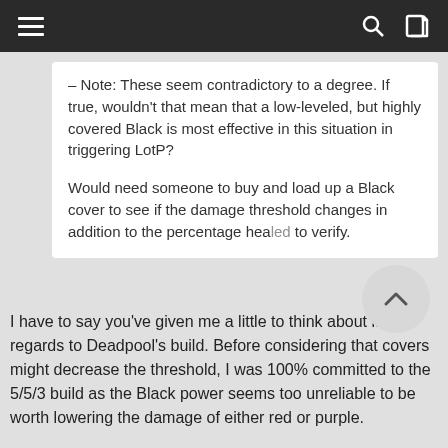– Note: These seem contradictory to a degree. If true, wouldn't that mean that a low-leveled, but highly covered Black is most effective in this situation in triggering LotP?

Would need someone to buy and load up a Black cover to see if the damage threshold changes in addition to the percentage healed to verify.
I have to say you've given me a little to think about in regards to Deadpool's build. Before considering that covers might decrease the threshold, I was 100% committed to the 5/5/3 build as the Black power seems too unreliable to be worth lowering the damage of either red or purple.